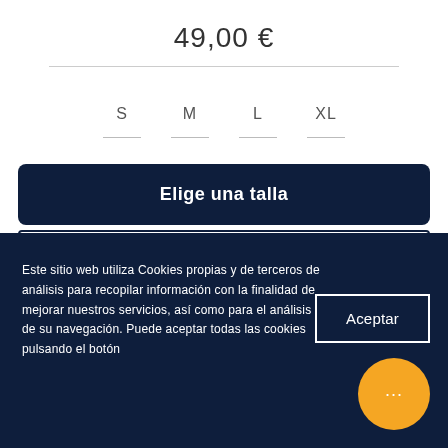49,00 €
S
M
L
XL
Elige una talla
Bañador hombre Dark verde impreso en color verde. El bañador
Este sitio web utiliza Cookies propias y de terceros de análisis para recopilar información con la finalidad de mejorar nuestros servicios, así como para el análisis de su navegación. Puede aceptar todas las cookies pulsando el botón
Aceptar